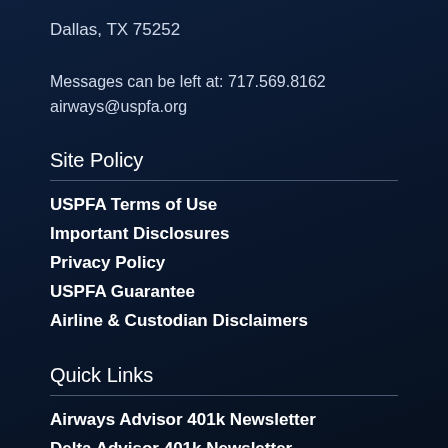Dallas, TX 75252
Messages can be left at: 717.569.8162
airways@uspfa.org
Site Policy
USPFA Terms of Use
Important Disclosures
Privacy Policy
USPFA Guarantee
Airline & Custodian Disclaimers
Quick Links
Airways Advisor 401k Newsletter
Delta Advisor 401k Newsletter